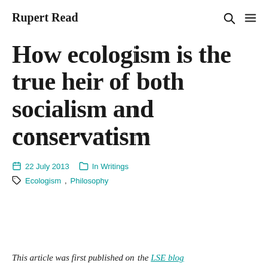Rupert Read
How ecologism is the true heir of both socialism and conservatism
22 July 2013  In Writings
Ecologism, Philosophy
This article was first published on the LSE blog